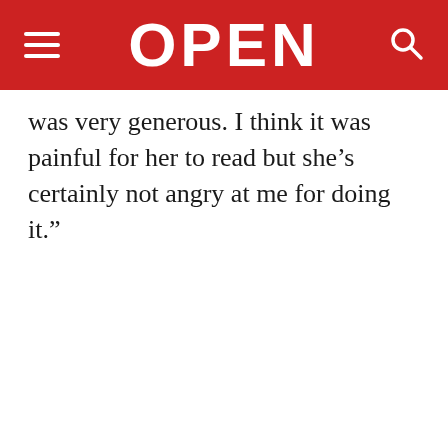OPEN
was very generous. I think it was painful for her to read but she’s certainly not angry at me for doing it.”